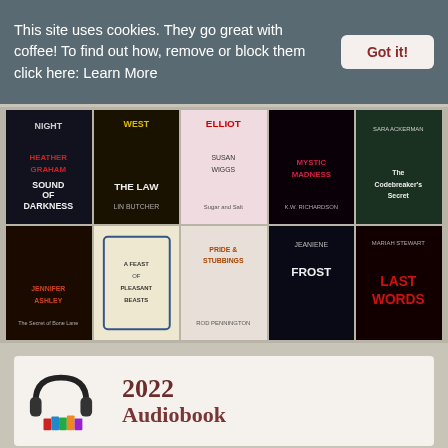This site uses cookies. They go great with coffee! To find out how, remove or block them click here: Learn More
Got it!
[Figure (photo): Grid of 10 book covers in 2 rows of 5. Top row: Sound of Darkness by Heather Graham, The Law West by Lin Butcher, Sugar and Salt by Susan Wiggs, Mystic Madness by K.W. Richardson, The Codebreaker's Secret by Sara Ackerman. Bottom row: The Secret of Bone Lane by Jennifer Ashley, A Feast of Pleasant Beasts, Pride & Stubbings by Rod Pennington, Jeaniene Frost book, Last Words by Mariah Stewart.]
[Figure (illustration): Audiobook logo with headphones over colorful books, with text '2022 Audiobook']